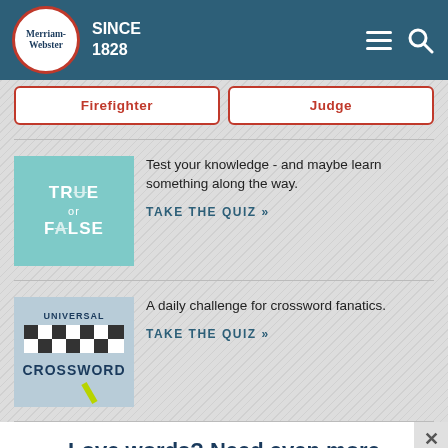Merriam-Webster SINCE 1828
Firefighter
Judge
[Figure (illustration): True or False quiz thumbnail with teal background showing 'TR/E or F/LSE' text]
Test your knowledge - and maybe learn something along the way. TAKE THE QUIZ »
[Figure (illustration): Universal Crossword quiz thumbnail showing crossword grid with pencil]
A daily challenge for crossword fanatics. TAKE THE QUIZ »
Love words? Need even more definitions?
Subscribe to America's largest dictionary and get thousands more definitions and advanced search